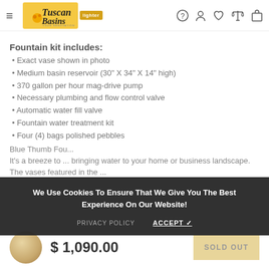Tuscan Basins — Navigation header with hamburger menu, logo, and icons
Fountain kit includes:
Exact vase shown in photo
Medium basin reservoir (30" X 34" X 14" high)
370 gallon per hour mag-drive pump
Necessary plumbing and flow control valve
Automatic water fill valve
Fountain water treatment kit
Four (4) bags polished pebbles
Blue Thumb Fou...
It's a breeze to ... bringing water to your home or business landscape. The vases featured in the ...
We Use Cookies To Ensure That We Give You The Best Experience On Our Website!
PRIVACY POLICY   ACCEPT ✓
$ 1,090.00
SOLD OUT